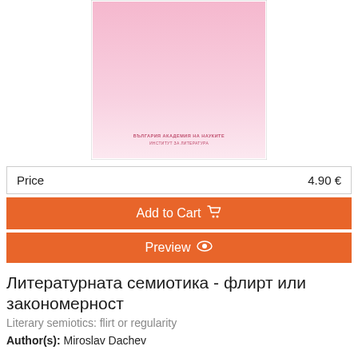[Figure (illustration): Pink gradient book cover with small text at the bottom reading Bulgarian Academy of Sciences Institute of Literature]
| Price | 4.90 € |
| --- | --- |
Add to Cart
Preview
Литературната семиотика - флирт или закономерност
Literary semiotics: flirt or regularity
Author(s): Miroslav Dachev